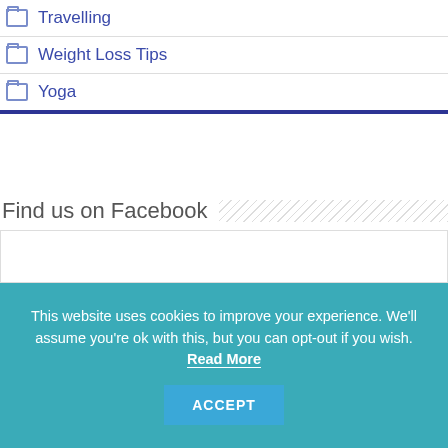Travelling
Weight Loss Tips
Yoga
Find us on Facebook
[Figure (other): Empty white box placeholder for Facebook widget]
This website uses cookies to improve your experience. We'll assume you're ok with this, but you can opt-out if you wish. Read More ACCEPT